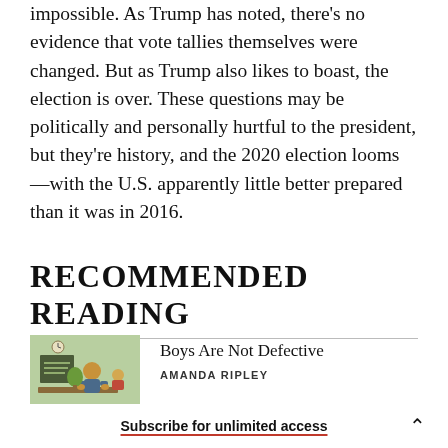impossible. As Trump has noted, there's no evidence that vote tallies themselves were changed. But as Trump also likes to boast, the election is over. These questions may be politically and personally hurtful to the president, but they're history, and the 2020 election looms—with the U.S. apparently little better prepared than it was in 2016.
RECOMMENDED READING
[Figure (illustration): Illustration showing a person (likely a boy) sitting at a desk or table with a smaller figure (child) nearby, green and warm tones, educational/domestic scene]
Boys Are Not Defective
AMANDA RIPLEY
Subscribe for unlimited access